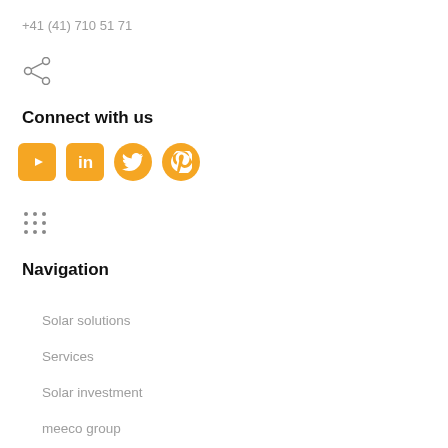+41 (41) 710 51 71
[Figure (illustration): Share icon (network share symbol) in gray]
Connect with us
[Figure (illustration): Four social media icons in orange/yellow: YouTube, LinkedIn, Twitter, Pinterest]
[Figure (illustration): Grid/apps icon in gray (3x3 dots)]
Navigation
Solar solutions
Services
Solar investment
meeco group